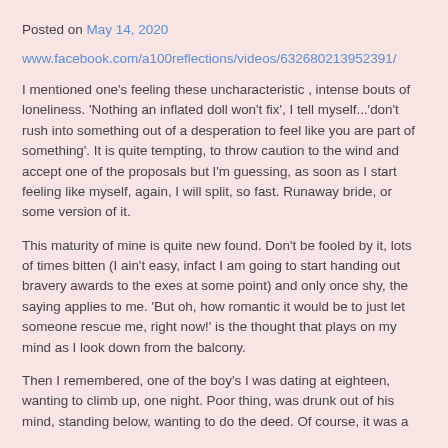Posted on May 14, 2020
www.facebook.com/a100reflections/videos/632680213952391/
I mentioned one's feeling these uncharacteristic , intense bouts of loneliness. 'Nothing an inflated doll won't fix', I tell myself...'don't rush into something out of a desperation to feel like you are part of something'. It is quite tempting, to throw caution to the wind and accept one of the proposals but I'm guessing, as soon as I start feeling like myself, again, I will split, so fast. Runaway bride, or some version of it.
This maturity of mine is quite new found. Don't be fooled by it, lots of times bitten (I ain't easy, infact I am going to start handing out bravery awards to the exes at some point) and only once shy, the saying applies to me. 'But oh, how romantic it would be to just let someone rescue me, right now!' is the thought that plays on my mind as I look down from the balcony.
Then I remembered, one of the boy's I was dating at eighteen, wanting to climb up, one night. Poor thing, was drunk out of his mind, standing below, wanting to do the deed. Of course, it was a